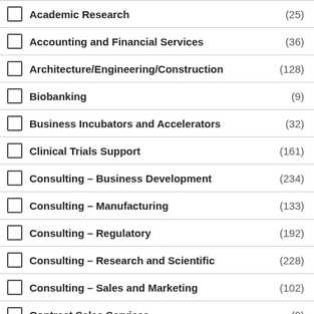Academic Research (25)
Accounting and Financial Services (36)
Architecture/Engineering/Construction (128)
Biobanking (9)
Business Incubators and Accelerators (32)
Clinical Trials Support (161)
Consulting – Business Development (234)
Consulting – Manufacturing (133)
Consulting – Regulatory (192)
Consulting – Research and Scientific (228)
Consulting – Sales and Marketing (102)
Contract Sales Services (9)
Economic Development (35)
Education and Training (94)